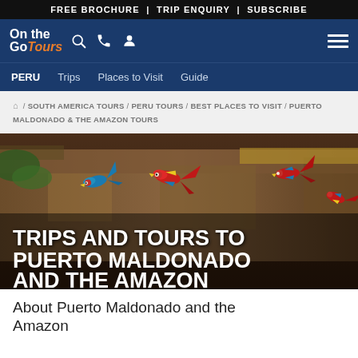FREE BROCHURE | TRIP ENQUIRY | SUBSCRIBE
[Figure (logo): On the Go Tours logo with navigation icons (search, phone, user) and hamburger menu on blue background]
PERU  Trips  Places to Visit  Guide
/ SOUTH AMERICA TOURS / PERU TOURS / BEST PLACES TO VISIT / PUERTO MALDONADO & THE AMAZON TOURS
[Figure (photo): Colourful macaws (scarlet and blue-and-green) at a clay lick with rocky cliff background, with overlaid title text: TRIPS AND TOURS TO PUERTO MALDONADO AND THE AMAZON]
About Puerto Maldonado and the Amazon